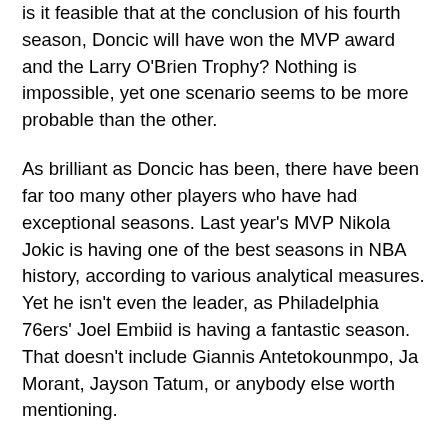is it feasible that at the conclusion of his fourth season, Doncic will have won the MVP award and the Larry O'Brien Trophy? Nothing is impossible, yet one scenario seems to be more probable than the other.
As brilliant as Doncic has been, there have been far too many other players who have had exceptional seasons. Last year's MVP Nikola Jokic is having one of the best seasons in NBA history, according to various analytical measures. Yet he isn't even the leader, as Philadelphia 76ers' Joel Embiid is having a fantastic season. That doesn't include Giannis Antetokounmpo, Ja Morant, Jayson Tatum, or anybody else worth mentioning.
Luka's case would be stronger if he had been performing at his present level from the start of the season. But it doesn't rule out the possibility of him achieving the playoff success he now lacks.
Doncic has unable to get beyond the first round despite